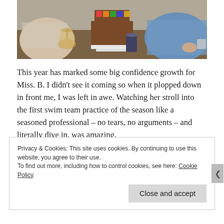[Figure (photo): Photo of people around a table with a birthday cake with colorful letters on top, a wine glass visible on the left, and a soda can in the center foreground.]
This year has marked some big confidence growth for Miss. B. I didn't see it coming so when it plopped down in front me, I was left in awe. Watching her stroll into the first swim team practice of the season like a seasoned professional – no tears, no arguments – and literally dive in, was amazing.
She waltzed into a new camp with the same attitude. I was
Privacy & Cookies: This site uses cookies. By continuing to use this website, you agree to their use.
To find out more, including how to control cookies, see here: Cookie Policy